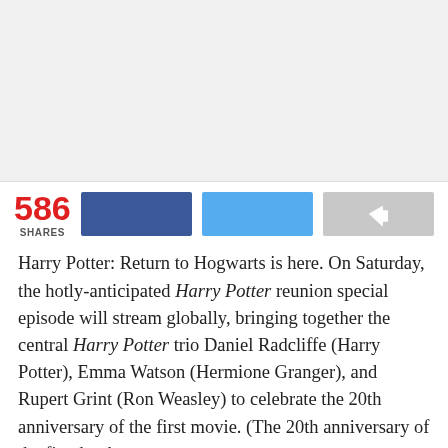[Figure (photo): Gray placeholder image area at top of article page]
586 SHARES
[Figure (infographic): Social sharing bar with Facebook (dark blue), Twitter (light blue), and share (gray) buttons]
Harry Potter: Return to Hogwarts is here. On Saturday, the hotly-anticipated Harry Potter reunion special episode will stream globally, bringing together the central Harry Potter trio Daniel Radcliffe (Harry Potter), Emma Watson (Hermione Granger), and Rupert Grint (Ron Weasley) to celebrate the 20th anniversary of the first movie. (The 20th anniversary of the first book was